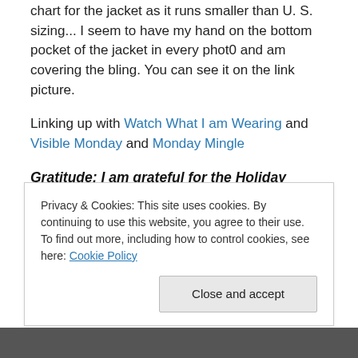chart for the jacket as it runs smaller than U. S. sizing...  I seem to have my hand on the bottom pocket of the jacket in every phot0 and am covering the bling.  You can see it on the link picture.
Linking up with Watch What I am Wearing and Visible Monday and Monday Mingle
Gratitude:  I am grateful for the Holiday Season!  I am grateful that my son really got into helping with the holiday decorating this year and lifted some of the responsibility off my shoulders.  I am grateful that the
Privacy & Cookies: This site uses cookies. By continuing to use this website, you agree to their use.
To find out more, including how to control cookies, see here: Cookie Policy
[Figure (photo): Partial photo strip at bottom of page showing a person, mostly cut off]